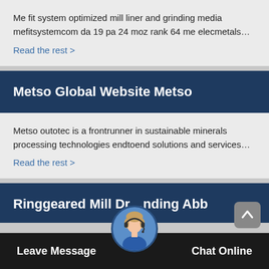Me fit system optimized mill liner and grinding media mefitsystemcom da 19 pa 24 moz rank 64 me elecmetals…
Read the rest >
Metso Global Website Metso
Metso outotec is a frontrunner in sustainable minerals processing technologies endtoend solutions and services…
Read the rest >
Ringgeared Mill Dr…nding Abb
Leave Message
Chat Online